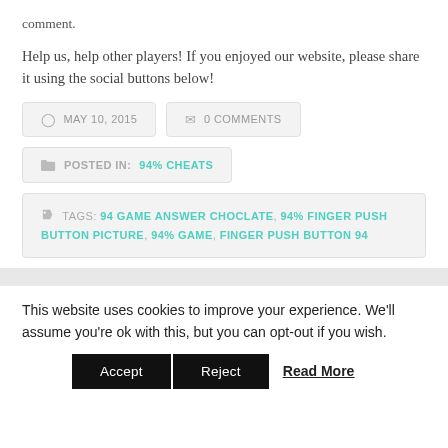comment.
Help us, help other players! If you enjoyed our website, please share it using the social buttons below!
MAY 10, 2015   0 COMMENTS
POSTED IN: 94% CHEATS
TAGS: 94 GAME ANSWER CHOCLATE, 94% FINGER PUSH BUTTON PICTURE, 94% GAME, FINGER PUSH BUTTON 94
This website uses cookies to improve your experience. We'll assume you're ok with this, but you can opt-out if you wish.
Accept   Reject   Read More